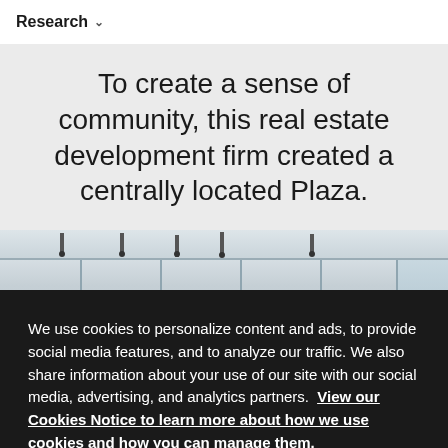Research
To create a sense of community, this real estate development firm created a centrally located Plaza.
[Figure (photo): Interior photo of a modern office or commercial space with floor-to-ceiling windows, pendant lights hanging from the ceiling, and a bright open atmosphere.]
We use cookies to personalize content and ads, to provide social media features, and to analyze our traffic. We also share information about your use of our site with our social media, advertising, and analytics partners. View our Cookies Notice to learn more about how we use cookies and how you can manage them.
Cookies Settings
Accept All Cookies